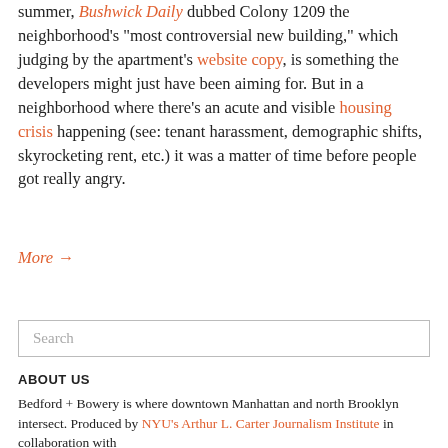summer, Bushwick Daily dubbed Colony 1209 the neighborhood’s “most controversial new building,” which judging by the apartment’s website copy, is something the developers might just have been aiming for. But in a neighborhood where there’s an acute and visible housing crisis happening (see: tenant harassment, demographic shifts, skyrocketing rent, etc.)  it was a matter of time before people got really angry.
More →
Search
ABOUT US
Bedford + Bowery is where downtown Manhattan and north Brooklyn intersect. Produced by NYU’s Arthur L. Carter Journalism Institute in collaboration with